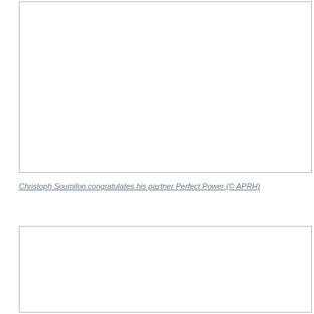[Figure (photo): Empty white image box at top of page]
Christoph Soumilon congratulates his partner Perfect Power (© APRH)
[Figure (photo): Empty white image box at bottom of page]